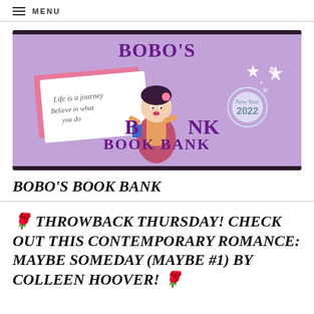≡ MENU
[Figure (illustration): Bobo's Book Bank banner image with purple background featuring a clown girl mascot holding books, text 'BOBO'S BOOK BANK', a pink sign reading 'Life is a journey Believe in what you do', and '2022' clock graphic]
BOBO'S BOOK BANK
🌹 THROWBACK THURSDAY! CHECK OUT THIS CONTEMPORARY ROMANCE: MAYBE SOMEDAY (MAYBE #1) BY COLLEEN HOOVER! 🌹